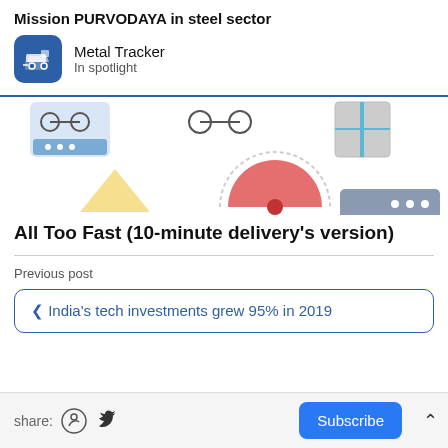Mission PURVODAYA in steel sector
Metal Tracker
In spotlight
[Figure (illustration): App illustration showing delivery-related icons: conveyor/machine icons, wheels, a package, and a speedometer-like gauge]
All Too Fast (10-minute delivery's version)
Previous post
< India's tech investments grew 95% in 2019
share: [WhatsApp icon] [Twitter icon]  Subscribe  ^